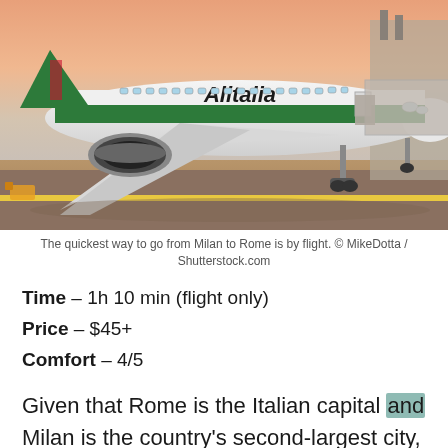[Figure (photo): Alitalia airplane parked at airport gate during sunset, white with green tail and fuselage stripe, photographed from the tarmac]
The quickest way to go from Milan to Rome is by flight. © MikeDotta / Shutterstock.com
Time – 1h 10 min (flight only)
Price – $45+
Comfort – 4/5
Given that Rome is the Italian capital and Milan is the country's second-largest city, it